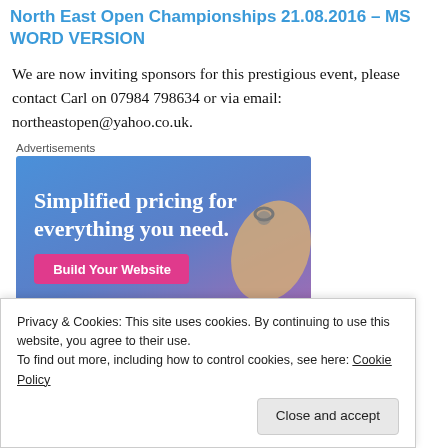North East Open Championships 21.08.2016 – MS WORD VERSION
We are now inviting sponsors for this prestigious event, please contact Carl on 07984 798634 or via email: northeastopen@yahoo.co.uk.
Advertisements
[Figure (illustration): Advertisement banner with gradient blue-purple background showing text 'Simplified pricing for everything you need.' with a pink 'Build Your Website' button and a price tag graphic.]
Privacy & Cookies: This site uses cookies. By continuing to use this website, you agree to their use.
To find out more, including how to control cookies, see here: Cookie Policy